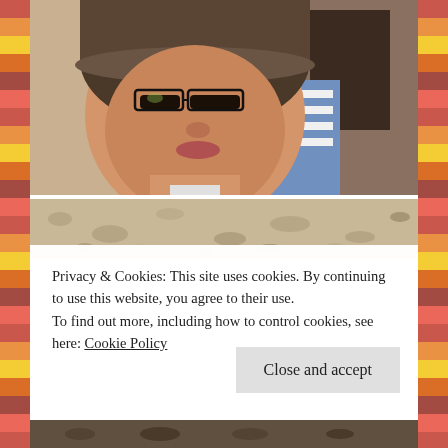[Figure (photo): A woman with glasses and a cap, close-up selfie shot indoors]
[Figure (photo): Sandy/gravelly surface texture photo strip]
Privacy & Cookies: This site uses cookies. By continuing to use this website, you agree to their use.
To find out more, including how to control cookies, see here: Cookie Policy
Close and accept